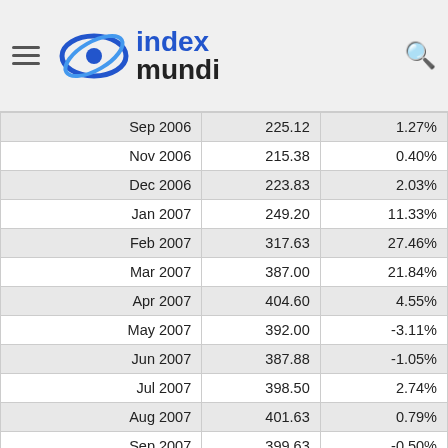index mundi
| Date | Value | Change |
| --- | --- | --- |
| Sep 2006 | 225.12 | 1.27% |
| Nov 2006 | 215.38 | 0.40% |
| Dec 2006 | 223.83 | 2.03% |
| Jan 2007 | 249.20 | 11.33% |
| Feb 2007 | 317.63 | 27.46% |
| Mar 2007 | 387.00 | 21.84% |
| Apr 2007 | 404.60 | 4.55% |
| May 2007 | 392.00 | -3.11% |
| Jun 2007 | 387.88 | -1.05% |
| Jul 2007 | 398.50 | 2.74% |
| Aug 2007 | 401.63 | 0.79% |
| Sep 2007 | 399.63 | -0.50% |
| Oct 2007 | 406.00 | 1.59% |
| Nov 2007 | 447.00 | 10.10% |
| Dec 2007 | 512.50 | 14.65% |
| Jan 2008 | 593.88 | 15.88% |
| Feb 2008 | 692.50 | 16.61% |